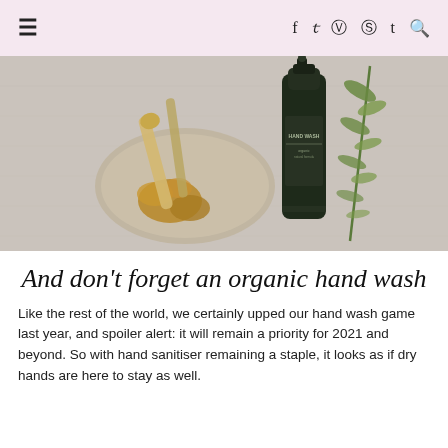≡  f  ✦  ⊡  ⊛  t  🔍
[Figure (photo): Flat lay photo showing a ceramic tray with ginger root and wooden utensils on the left, a dark green hand wash bottle in the center-right, and a sprig of green plant/herb on the far right, all on a light linen surface.]
And don't forget an organic hand wash
Like the rest of the world, we certainly upped our hand wash game last year, and spoiler alert: it will remain a priority for 2021 and beyond. So with hand sanitiser remaining a staple, it looks as if dry hands are here to stay as well.